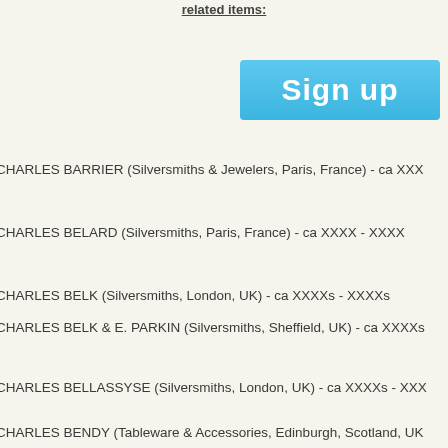related items:
[Figure (other): Blue 'Sign up' button with gradient background]
CHARLES BARRIER (Silversmiths & Jewelers, Paris, France) - ca XXX
CHARLES BELARD (Silversmiths, Paris, France) - ca XXXX - XXXX
CHARLES BELK (Silversmiths, London, UK) - ca XXXXs - XXXXs
CHARLES BELK & E. PARKIN (Silversmiths, Sheffield, UK) - ca XXXXs
CHARLES BELLASSYSE (Silversmiths, London, UK) - ca XXXXs - XXX
CHARLES BENDY (Tableware & Accessories, Edinburgh, Scotland, UK